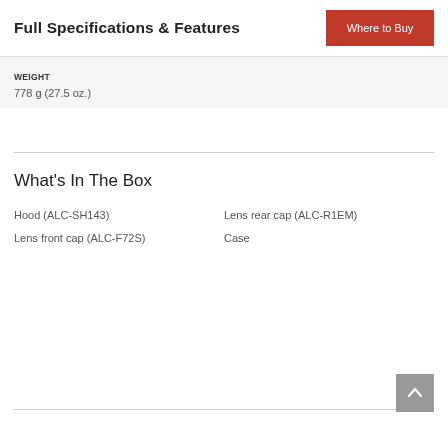Full Specifications & Features
Where to Buy
WEIGHT
778 g (27.5 oz.)
What's In The Box
Hood (ALC-SH143)
Lens front cap (ALC-F72S)
Lens rear cap (ALC-R1EM)
Case